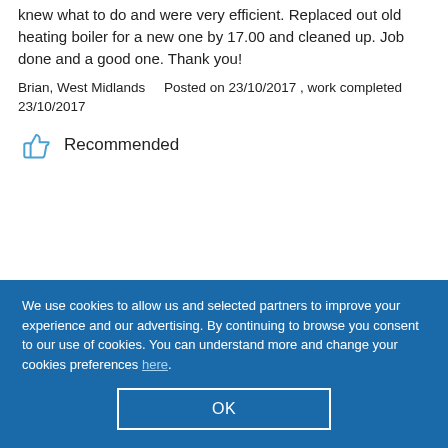knew what to do and were very efficient. Replaced out old heating boiler for a new one by 17.00 and cleaned up. Job done and a good one. Thank you!
Brian, West Midlands    Posted on 23/10/2017 , work completed 23/10/2017
Recommended
We use cookies to allow us and selected partners to improve your experience and our advertising. By continuing to browse you consent to our use of cookies. You can understand more and change your cookies preferences here.
OK